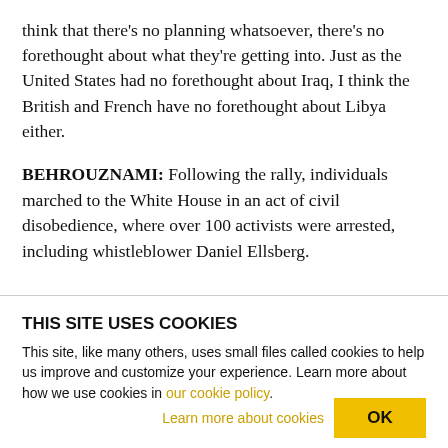think that there's no planning whatsoever, there's no forethought about what they're getting into. Just as the United States had no forethought about Iraq, I think the British and French have no forethought about Libya either.
BEHROUZNAMI: Following the rally, individuals marched to the White House in an act of civil disobedience, where over 100 activists were arrested, including whistleblower Daniel Ellsberg.
THIS SITE USES COOKIES
This site, like many others, uses small files called cookies to help us improve and customize your experience. Learn more about how we use cookies in our cookie policy.
Learn more about cookies
OK